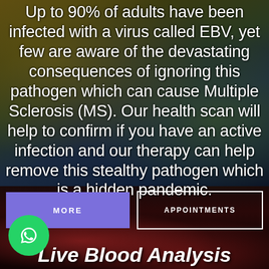Up to 90% of adults have been infected with a virus called EBV, yet few are aware of the devastating consequences of ignoring this pathogen which can cause Multiple Sclerosis (MS). Our health scan will help to confirm if you have an active infection and our therapy can help remove this stealthy pathogen which is a hidden pandemic.
[Figure (other): Purple/violet button labeled MORE and outlined button labeled APPOINTMENTS side by side]
[Figure (other): Green circular WhatsApp icon button at bottom left]
Live Blood Analysis